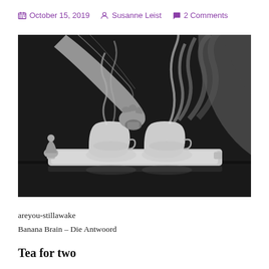October 15, 2019  Susanne Leist  2 Comments
[Figure (photo): Black and white photograph of two teacups on a decorative tray, with a hand pouring from above and dramatic steam rising. A small figurine is visible on the left.]
areyou-stillawake
Banana Brain – Die Antwoord
Tea for two